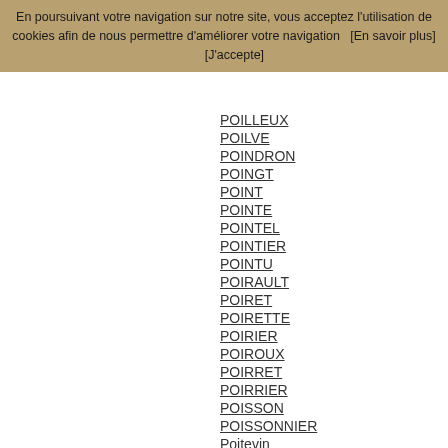En poursuivant votre navigation sur notre site, vous acceptez l'utilisation de cookies afin de nous permettre d'améliorer votre navigation   [En savoir plus]       [J'accepte]
POILLEUX
POILVE
POINDRON
POINGT
POINT
POINTE
POINTEL
POINTIER
POINTU
POIRAULT
POIRET
POIRETTE
POIRIER
POIROUX
POIRRET
POIRRIER
POISSON
POISSONNIER
Poitevin
POITOU
POITRIMOL
POITTE